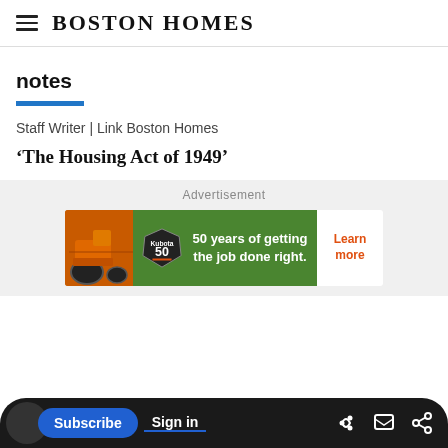Boston Homes
notes
Staff Writer | Link Boston Homes
‘The Housing Act of 1949’
[Figure (screenshot): Advertisement banner: orange tractor on left, green background with Kubota 50th anniversary badge, text '50 years of getting the job done right.' with Learn more button on right]
Subscribe  Sign in